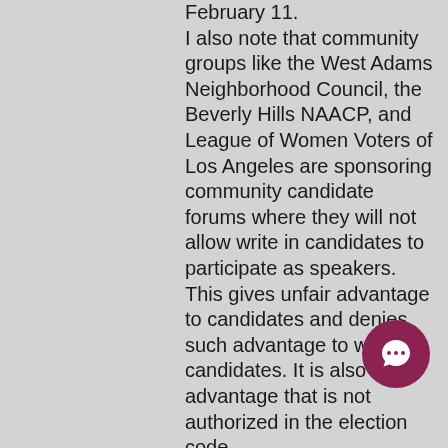February 11.
I also note that community groups like the West Adams Neighborhood Council, the Beverly Hills NAACP, and League of Women Voters of Los Angeles are sponsoring community candidate forums where they will not allow write in candidates to participate as speakers. This gives unfair advantage to candidates and denies such advantage to write-in candidates. It is also an advantage that is not authorized in the election code.
I ask that the city council and the public support that write-in candidates be allowed to participate as equals on the speaker panel in all community group sponsored candidate forums.
I ask that the city council and public support that the airing of free video
[Figure (other): A circular dark pink/maroon chat button icon in the bottom right area of the page]